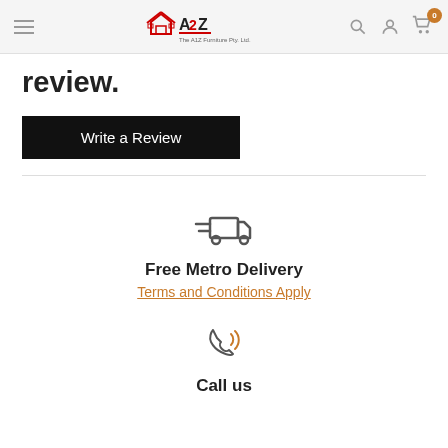A2Z - The A1Z Furniture Pty. Ltd.
review.
Write a Review
[Figure (illustration): Delivery truck icon with speed lines]
Free Metro Delivery
Terms and Conditions Apply
[Figure (illustration): Phone/call icon with signal waves]
Call us